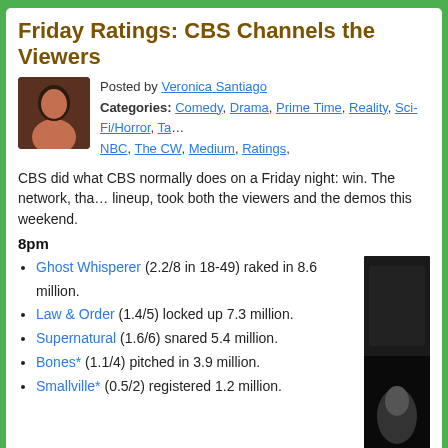Friday Ratings: CBS Channels the Viewers
Posted by Veronica Santiago
Categories: Comedy, Drama, Prime Time, Reality, Sci-Fi/Horror, Ta..., NBC, The CW, Medium, Ratings,
CBS did what CBS normally does on a Friday night: win. The network, tha... lineup, took both the viewers and the demos this weekend.
8pm
Ghost Whisperer (2.2/8 in 18-49) raked in 8.6 million.
Law & Order (1.4/5) locked up 7.3 million.
Supernatural (1.6/6) snared 5.4 million.
Bones* (1.1/4) pitched in 3.9 million.
Smallville* (0.5/2) registered 1.2 million.
Click to continue reading Friday Ratings: CBS Channels the Viewers
Read More | TV by the Numbers
Tools: Permalink | Share on Twitter | Share on Facebook | Comments (0) | Email th...
Friday Ratings: Dollhouse Down, Betty Up
Posted by Veronica Santiago